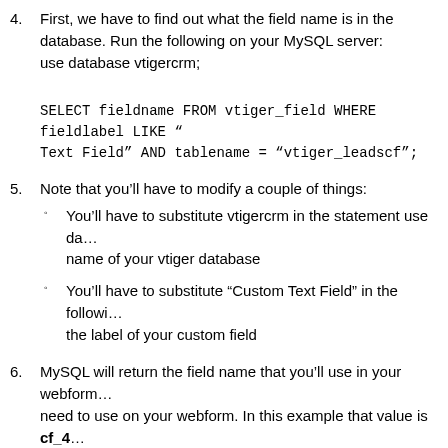4. First, we have to find out what the field name is in the database. Run the following on your MySQL server:
use database vtigercrm;

SELECT fieldname FROM vtiger_field WHERE fieldlabel LIKE “Custom Text Field” AND tablename = “vtiger_leadscf”;
5. Note that you’ll have to modify a couple of things:
You’ll have to substitute vtigercrm in the statement use database with the actual name of your vtiger database
You’ll have to substitute “Custom Text Field” in the following statement with the label of your custom field
6. MySQL will return the field name that you’ll use in your webform. That’s the value you need to use on your webform. In this example that value is cf_4...
7. Now edit your web page to look like the following:
<form method="POST" action="http://[VTIGER-URL]/modules/W...post.php">
<input type="hidden" value="Leads" name="moduleName" />